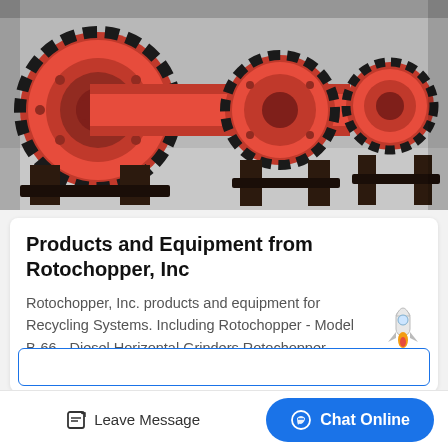[Figure (photo): Industrial orange ball mill grinding machines lined up in a factory, with large gear rings and cylindrical drums visible.]
Products and Equipment from Rotochopper, Inc
Rotochopper, Inc. products and equipment for Recycling Systems. Including Rotochopper - Model B-66 - Diesel Horizontal Grinders,Rotochopper - Model FP-66 - Diesel...
Leave Message
Chat Online